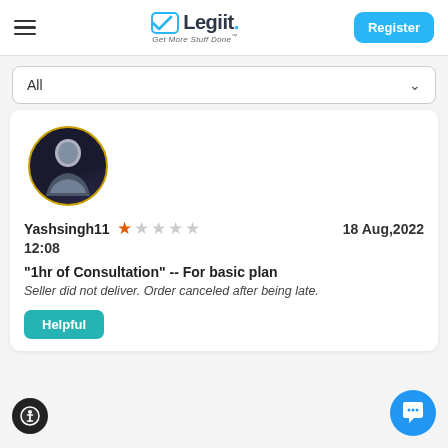[Figure (logo): Legiit logo with checkmark icon and tagline 'Get More Stuff Done']
All
[Figure (photo): Circular avatar of a man in a blazer against a dark background]
Yashsingh11  ★☆☆☆☆  18 Aug,2022 12:08
"1hr of Consultation" -- For basic plan
Seller did not deliver. Order canceled after being late.
Helpful